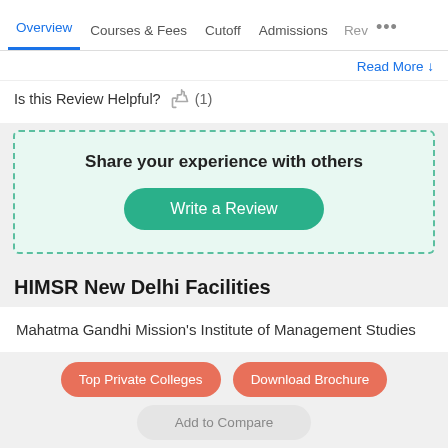Overview  Courses & Fees  Cutoff  Admissions  Rev...
Read More ↓
Is this Review Helpful? 👍 (1)
Share your experience with others
Write a Review
HIMSR New Delhi Facilities
Mahatma Gandhi Mission's Institute of Management Studies
Top Private Colleges   Download Brochure   Add to Compare